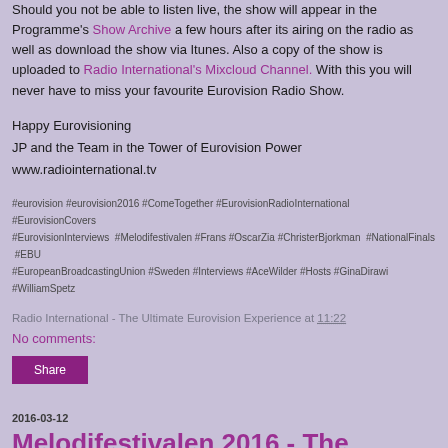Should you not be able to listen live, the show will appear in the Programme's Show Archive a few hours after its airing on the radio as well as download the show via Itunes. Also a copy of the show is uploaded to Radio International's Mixcloud Channel. With this you will never have to miss your favourite Eurovision Radio Show.
Happy Eurovisioning
JP and the Team in the Tower of Eurovision Power
www.radiointernational.tv
#eurovision #eurovision2016 #ComeTogether #EurovisionRadioInternational #EurovisionCovers #EurovisionInterviews #Melodifestivalen #Frans #OscarZia #ChristerBjorkman #NationalFinals #EBU #EuropeanBroadcastingUnion #Sweden #Interviews #AceWilder #Hosts #GinaDirawi #WilliamSpetz
Radio International - The Ultimate Eurovision Experience at 11:22
No comments:
Share
2016-03-12
Melodifestivalen 2016 - The complete coverage and all the interviews